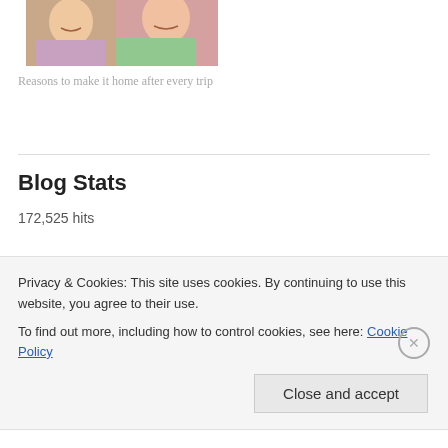[Figure (photo): Two young girls smiling at the camera, one wearing a light green shirt with a pink design, the other in striped clothing]
Reasons to make it home after every trip
Blog Stats
172,525 hits
Top Stuff
Privacy & Cookies: This site uses cookies. By continuing to use this website, you agree to their use.
To find out more, including how to control cookies, see here: Cookie Policy
Close and accept